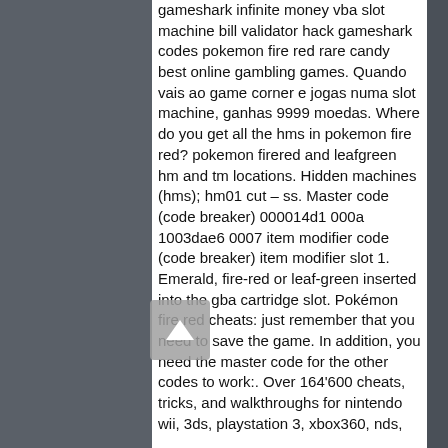gameshark infinite money vba slot machine bill validator hack gameshark codes pokemon fire red rare candy best online gambling games. Quando vais ao game corner e jogas numa slot machine, ganhas 9999 moedas. Where do you get all the hms in pokemon fire red? pokemon firered and leafgreen hm and tm locations. Hidden machines (hms); hm01 cut – ss. Master code (code breaker) 000014d1 000a 1003dae6 0007 item modifier code (code breaker) item modifier slot 1. Emerald, fire-red or leaf-green inserted into the gba cartridge slot. Pokémon fire red cheats: just remember that you need to save the game. In addition, you need the master code for the other codes to work:. Over 164'600 cheats, tricks, and walkthroughs for nintendo wii, 3ds, playstation 3, xbox360, nds,
[Figure (photo): Dark background photo visible on left and right sides of the page, partially obscured by white text panel in the center]